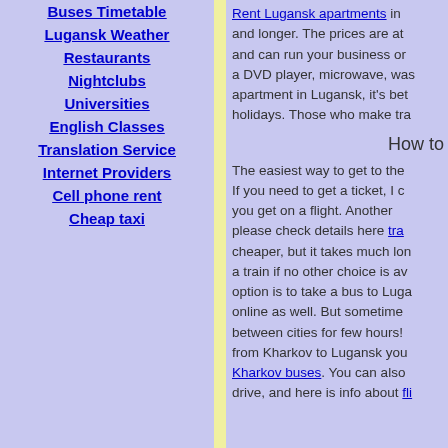Buses Timetable
Lugansk Weather
Restaurants
Nightclubs
Universities
English Classes
Translation Service
Internet Providers
Cell phone rent
Cheap taxi
Rent Lugansk apartments in and longer. The prices are at and can run your business or a DVD player, microwave, was apartment in Lugansk, it's bet holidays. Those who make tra
How to
The easiest way to get to the If you need to get a ticket, I c you get on a flight. Another please check details here tra cheaper, but it takes much lon a train if no other choice is av option is to take a bus to Luga online as well. But sometime between cities for few hours! from Kharkov to Lugansk you Kharkov buses. You can also drive, and here is info about fli